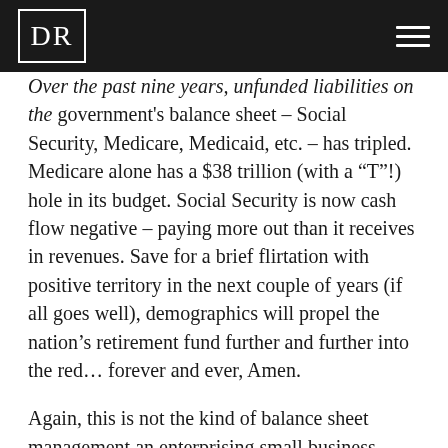DR
Over the past nine years, unfunded liabilities on the government's balance sheet – Social Security, Medicare, Medicaid, etc. – has tripled. Medicare alone has a $38 trillion (with a “T”!) hole in its budget. Social Security is now cash flow negative – paying more out than it receives in revenues. Save for a brief flirtation with positive territory in the next couple of years (if all goes well), demographics will propel the nation's retirement fund further and further into the red… forever and ever, Amen.
Again, this is not the kind of balance sheet management an enterprising small business owner would tolerate (or survive). Alas, government meddlers are not enterprising business owners. The